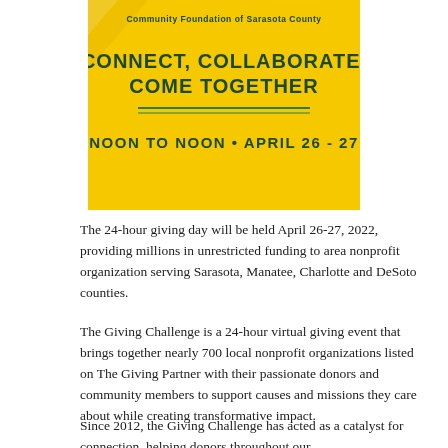[Figure (illustration): Yellow banner for the Giving Challenge event by Community Foundation of Sarasota County. Text reads: CONNECT, COLLABORATE, COME TOGETHER. NOON TO NOON • APRIL 26 - 27]
The 24-hour giving day will be held April 26-27, 2022, providing millions in unrestricted funding to area nonprofit organization serving Sarasota, Manatee, Charlotte and DeSoto counties.
The Giving Challenge is a 24-hour virtual giving event that brings together nearly 700 local nonprofit organizations listed on The Giving Partner with their passionate donors and community members to support causes and missions they care about while creating transformative impact.
Since 2012, the Giving Challenge has acted as a catalyst for connection, helping donors throughout our